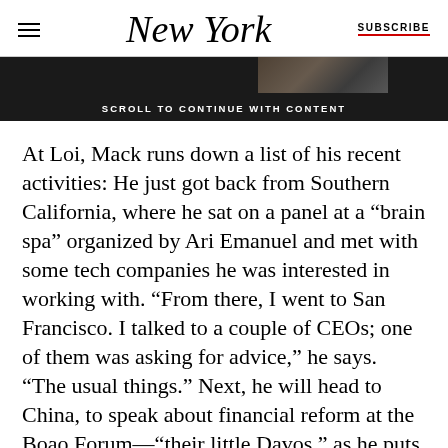New York — SUBSCRIBE
[Figure (other): Partial image visible at top, partially obscured by ad banner]
SCROLL TO CONTINUE WITH CONTENT
At Loi, Mack runs down a list of his recent activities: He just got back from Southern California, where he sat on a panel at a “brain spa” organized by Ari Emanuel and met with some tech companies he was interested in working with. “From there, I went to San Francisco. I talked to a couple of CEOs; one of them was asking for advice,” he says. “The usual things.” Next, he will head to China, to speak about financial reform at the Boao Forum—“their little Davos,” as he puts it.
At some point, he will also have to find some time